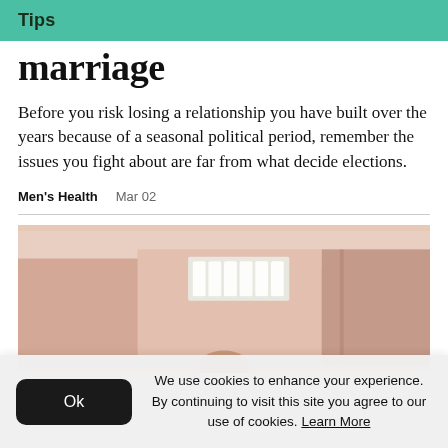Tips
marriage
Before you risk losing a relationship you have built over the years because of a seasonal political period, remember the issues you fight about are far from what decide elections.
Men's Health   Mar 02
[Figure (photo): Interior room photo with peach/beige walls, a framed lit mirror or light fixture, and a person partially visible in lower center]
We use cookies to enhance your experience. By continuing to visit this site you agree to our use of cookies. Learn More